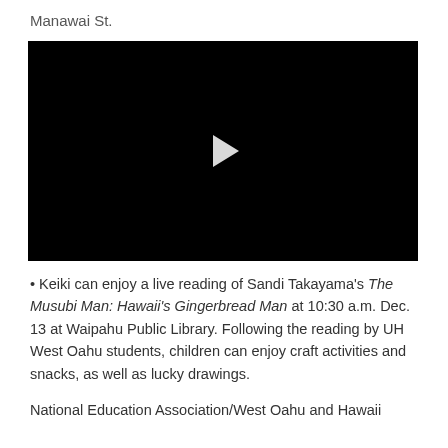Manawai St.
[Figure (other): Black video player with white play button triangle in center]
Keiki can enjoy a live reading of Sandi Takayama's The Musubi Man: Hawaii's Gingerbread Man at 10:30 a.m. Dec. 13 at Waipahu Public Library. Following the reading by UH West Oahu students, children can enjoy craft activities and snacks, as well as lucky drawings.
National Education Association/West Oahu and Hawaii